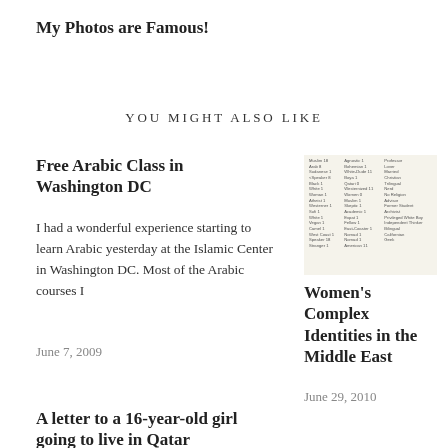My Photos are Famous!
YOU MIGHT ALSO LIKE
Free Arabic Class in Washington DC
I had a wonderful experience starting to learn Arabic yesterday at the Islamic Center in Washington DC. Most of the Arabic courses I
June 7, 2009
[Figure (table-as-image): Table of identity labels including categories like Muslim, Arab, Sudanese, Black, White, Woman, Atheist, Westerner, Sufi, Vegan, Camel, West Coast, Speaker, Stranger on left; Agnostic, Bohemian, White-Dude, Boya, Qatari, Westernized, Women, Muslim, Skeptic, Academic, Expat, Fellow, East-Coaster, Nomad, American in center; Professor, Lover, Married, Christian, Trilingual, Nerd, No Religion, Advisor, Former Student, Archivist, Privileged White Boy, Independent Thinker, Bilingual, Californian, Geek on right]
Women's Complex Identities in the Middle East
June 29, 2010
A letter to a 16-year-old girl going to live in Qatar